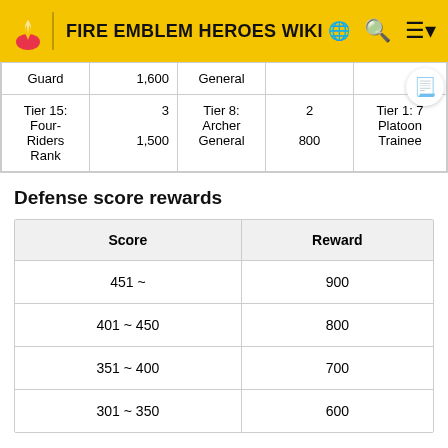FIRE EMBLEM HEROES WIKI
|  |  |  |  |  |
| --- | --- | --- | --- | --- |
| Guard | 1,600 | General |  |  |
| Tier 15: Four-Riders Rank | 3
1,500 | Tier 8: Archer General | 2
800 | Tier 1: 7 Platoon Trainee |
Defense score rewards
| Score | Reward |
| --- | --- |
| 451 ~ | 900 |
| 401 ~ 450 | 800 |
| 351 ~ 400 | 700 |
| 301 ~ 350 | 600 |